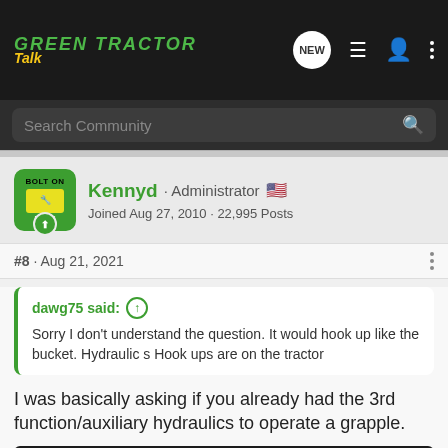Green Tractor Talk
Search Community
Kennyd · Administrator
Joined Aug 27, 2010 · 22,995 Posts
#8 · Aug 21, 2021
dawg75 said: ↑
Sorry I don't understand the question. It would hook up like the bucket. Hydraulic s Hook ups are on the tractor
I was basically asking if you already had the 3rd function/auxiliary hydraulics to operate a grapple.
[Figure (screenshot): GroundOS advertisement banner: BUILT BY LAND BROKERS FOR LAND BROKERS - CLICK TO LEARN MORE]